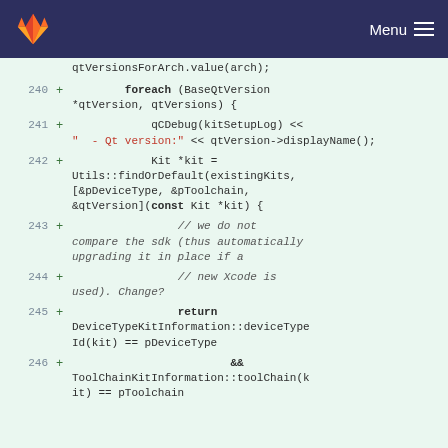GitLab Menu
qtVersionsForArch.value(arch);
240 + foreach (BaseQtVersion *qtVersion, qtVersions) {
241 + qCDebug(kitSetupLog) << "  - Qt version:" << qtVersion->displayName();
242 + Kit *kit = Utils::findOrDefault(existingKits, [&pDeviceType, &pToolchain, &qtVersion](const Kit *kit) {
243 + // we do not compare the sdk (thus automatically upgrading it in place if a
244 + // new Xcode is used). Change?
245 + return DeviceTypeKitInformation::deviceTypeId(kit) == pDeviceType
246 + && ToolChainKitInformation::toolChain(kit) == pToolchain